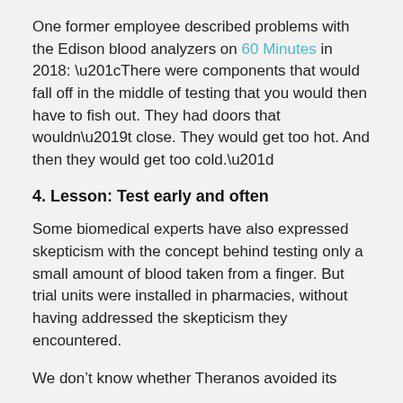One former employee described problems with the Edison blood analyzers on 60 Minutes in 2018: “There were components that would fall off in the middle of testing that you would then have to fish out. They had doors that wouldn’t close. They would get too hot. And then they would get too cold.”
4. Lesson: Test early and often
Some biomedical experts have also expressed skepticism with the concept behind testing only a small amount of blood taken from a finger. But trial units were installed in pharmacies, without having addressed the skepticism they encountered.
We don’t know whether Theranos avoided its